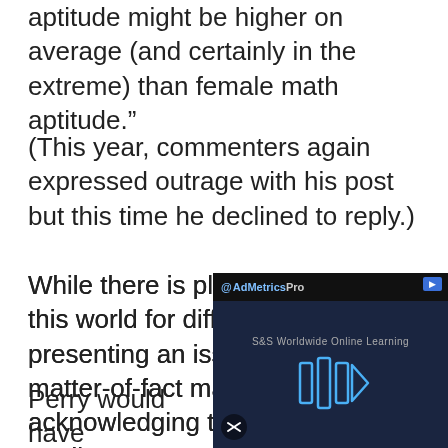aptitude might be higher on average (and certainly in the extreme) than female math aptitude.”
(This year, commenters again expressed outrage with his post but this time he declined to reply.)
While there is plenty of room in this world for differing opinions, presenting an issue in such a matter-of-fact manner without acknowledging the wide range of studies counter to his belief is plain wrong, not to mention contributes directly to the problem we’re talking about.
Perry would have been served well by a study from North… researchers whic…
[Figure (screenshot): Ad overlay from @AdMetricsPro showing a video player with S&S Worldwide Online Learning branding, blue play button graphic, and a mute icon.]